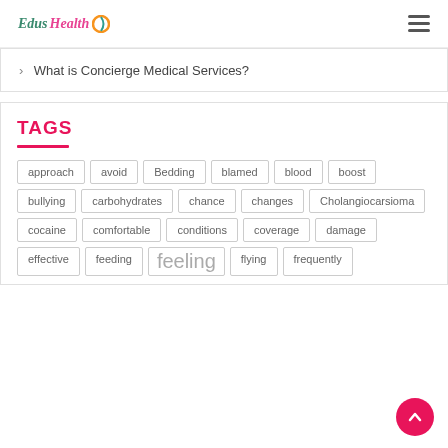Edus Health
What is Concierge Medical Services?
TAGS
approach, avoid, Bedding, blamed, blood, boost, bullying, carbohydrates, chance, changes, Cholangiocarsioma, cocaine, comfortable, conditions, coverage, damage, effective, feeding, feeling, flying, frequently